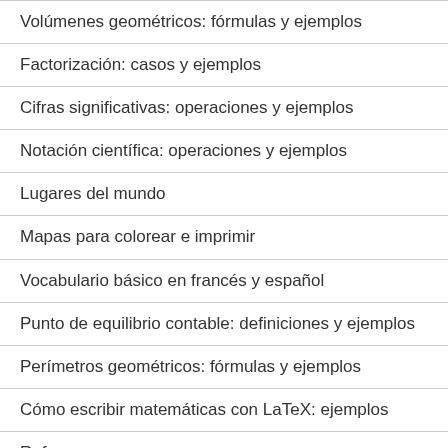Volúmenes geométricos: fórmulas y ejemplos
Factorización: casos y ejemplos
Cifras significativas: operaciones y ejemplos
Notación científica: operaciones y ejemplos
Lugares del mundo
Mapas para colorear e imprimir
Vocabulario básico en francés y español
Punto de equilibrio contable: definiciones y ejemplos
Perímetros geométricos: fórmulas y ejemplos
Cómo escribir matemáticas con LaTeX: ejemplos
Refranes